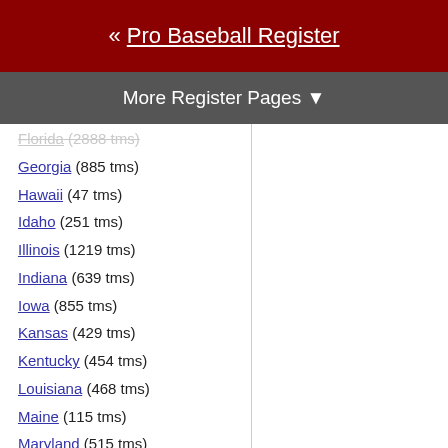« Pro Baseball Register
More Register Pages ▼
Florida (2888 tms)
Georgia (885 tms)
Hawaii (47 tms)
Idaho (251 tms)
Illinois (1219 tms)
Indiana (639 tms)
Iowa (855 tms)
Kansas (429 tms)
Kentucky (454 tms)
Louisiana (468 tms)
Maine (115 tms)
Maryland (515 tms)
Massachusetts (843 tms)
Michigan (675 tms)
Minnesota (484 tms)
Mississippi (274 tms)
Missouri (652 tms)